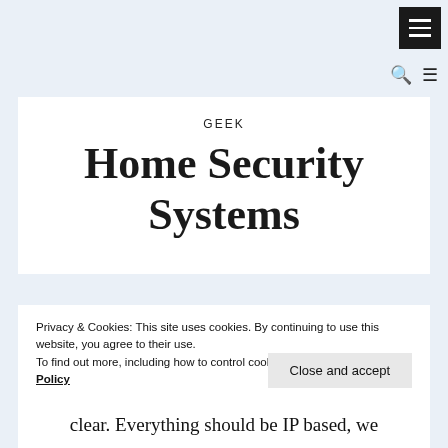[Figure (other): Dark hamburger menu button in top-right corner with three white horizontal lines]
[Figure (other): Search icon (magnifying glass) and menu icon (three lines) in secondary navigation row]
GEEK
Home Security Systems
Privacy & Cookies: This site uses cookies. By continuing to use this website, you agree to their use.
To find out more, including how to control cookies, see here: Cookie Policy
Close and accept
clear. Everything should be IP based, we